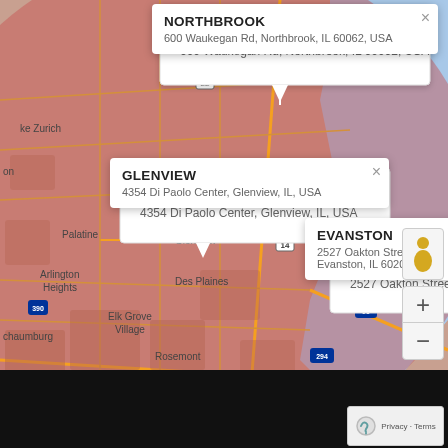[Figure (map): Google Maps screenshot showing the Chicago, IL area with a red shaded region. Three info popups are visible: Northbrook at 600 Waukegan Rd, Northbrook, IL 60062 USA; Glenview at 4354 Di Paolo Center, Glenview, IL, USA; Evanston at 2527 Oakton Street, Evanston, IL 60202, USA. A red map pin is shown near Evanston. Map controls (street view person, zoom +/−) appear on the right. Map data ©2022 Google footer visible at bottom.]